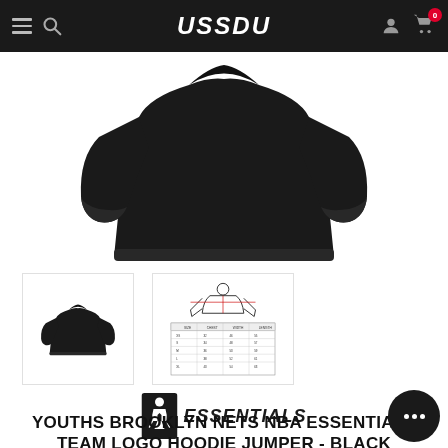USSDU — navigation bar with hamburger menu, search, logo, user icon, cart (0)
[Figure (photo): Back view of a black hoodie/jumper on white background, main product image]
[Figure (photo): Thumbnail: back view of black hoodie]
[Figure (photo): Thumbnail: size chart diagram showing measurements with a figure outline and measurement table]
[Figure (logo): NBA Essentials logo — NBA player silhouette with 'ESSENTIALS' text in bold italic]
YOUTHS BROOKLYN NETS NBA ESSENTIALS TEAM LOGO HOODIE JUMPER - BLACK